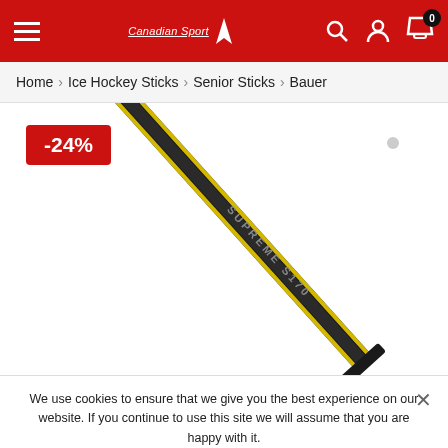Navigation header with hamburger menu, logo, search, user, and cart icons
Home > Ice Hockey Sticks > Senior Sticks > Bauer
[Figure (photo): Bauer Supreme S170 ice hockey stick shown diagonally on white background with -24% discount badge]
We use cookies to ensure that we give you the best experience on our website. If you continue to use this site we will assume that you are happy with it.
Ok | Privacy policy